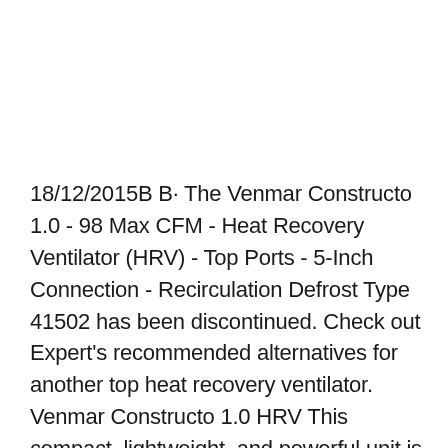18/12/2015B B· The Venmar Constructo 1.0 - 98 Max CFM - Heat Recovery Ventilator (HRV) - Top Ports - 5-Inch Connection - Recirculation Defrost Type 41502 has been discontinued. Check out Expert's recommended alternatives for another top heat recovery ventilator. Venmar Constructo 1.0 HRV This compact, lightweight, and powerful unit is the ideal choice for new small single family homes, high-rise condos and other limited space applications. Tucked in a bulkhead or closet, thanks to its streamlined and compact